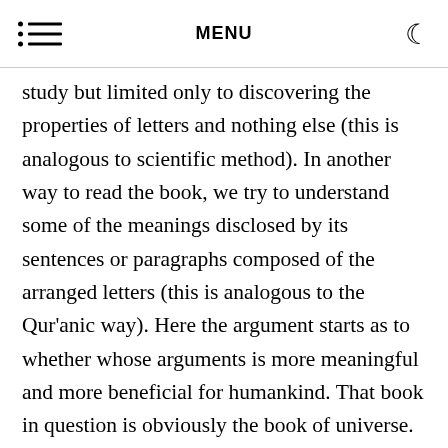MENU
study but limited only to discovering the properties of letters and nothing else (this is analogous to scientific method). In another way to read the book, we try to understand some of the meanings disclosed by its sentences or paragraphs composed of the arranged letters (this is analogous to the Qur'anic way). Here the argument starts as to whether whose arguments is more meaningful and more beneficial for humankind. That book in question is obviously the book of universe. Here the Qur'an comes down with all its challenging aspects claiming that it is the best translator of that book from the very Author of the book of the universe. Hence the Qur'an is at our hands, challenging on